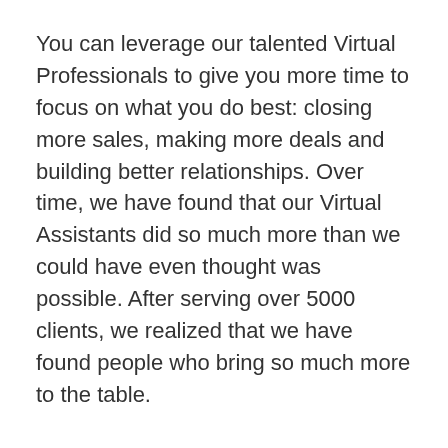You can leverage our talented Virtual Professionals to give you more time to focus on what you do best: closing more sales, making more deals and building better relationships. Over time, we have found that our Virtual Assistants did so much more than we could have even thought was possible. After serving over 5000 clients, we realized that we have found people who bring so much more to the table.
While skills, experience and intelligence are important factors when we screen our applicants, we also look for heart. The kind of heart that will treat your business like